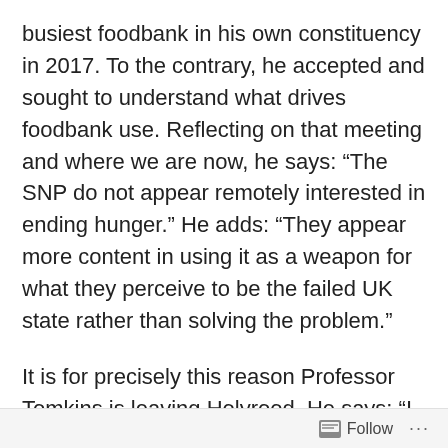busiest foodbank in his own constituency in 2017. To the contrary, he accepted and sought to understand what drives foodbank use. Reflecting on that meeting and where we are now, he says: “The SNP do not appear remotely interested in ending hunger.” He adds: “They appear more content in using it as a weapon for what they perceive to be the failed UK state rather than solving the problem.”
It is for precisely this reason Professor Tomkins is leaving Holyrood. He says: “I am getting out of politics because social problems are weaponised down constitutional lines and I have seen this no more than in the area of drug deaths.” An issue of
Follow ...